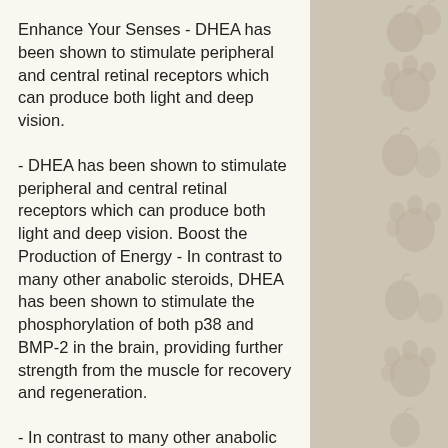Enhance Your Senses - DHEA has been shown to stimulate peripheral and central retinal receptors which can produce both light and deep vision.
- DHEA has been shown to stimulate peripheral and central retinal receptors which can produce both light and deep vision. Boost the Production of Energy - In contrast to many other anabolic steroids, DHEA has been shown to stimulate the phosphorylation of both p38 and BMP-2 in the brain, providing further strength from the muscle for recovery and regeneration.
- In contrast to many other anabolic steroids, DHEA has been shown to stimulate the phosphorylation of both p38 and BMP-2 in the brain, providing further strength from the muscle for recovery and regeneration. Keep Your Skin Tanned - This is one of the